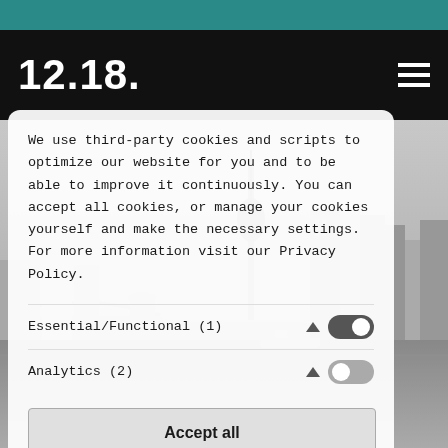12.18.
We use third-party cookies and scripts to optimize our website for you and to be able to improve it continuously. You can accept all cookies, or manage your cookies yourself and make the necessary settings. For more information visit our Privacy Policy.
Essential/Functional (1)
Analytics (2)
Accept all
Save
Only necessary
Privacy policy